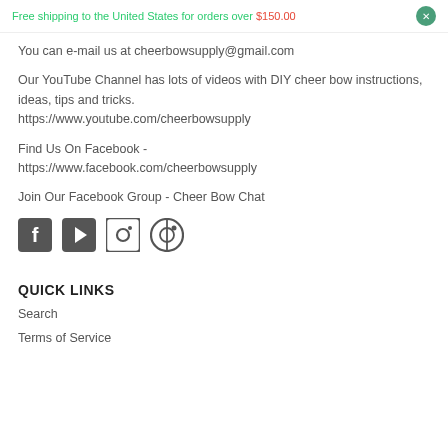Free shipping to the United States for orders over $150.00
You can e-mail us at cheerbowsupply@gmail.com
Our YouTube Channel has lots of videos with DIY cheer bow instructions, ideas, tips and tricks.
https://www.youtube.com/cheerbowsupply
Find Us On Facebook -
https://www.facebook.com/cheerbowsupply
Join Our Facebook Group - Cheer Bow Chat
[Figure (illustration): Social media icons: Facebook, YouTube, Instagram, Pinterest]
QUICK LINKS
Search
Terms of Service